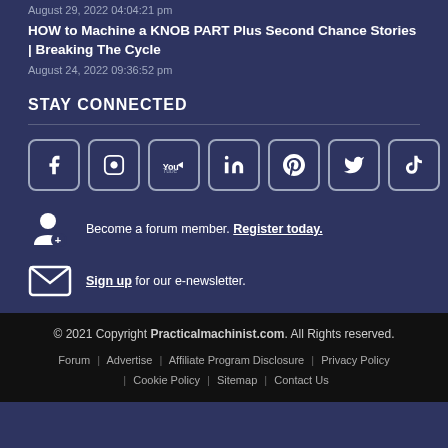August 29, 2022 04:04:21 pm
HOW to Machine a KNOB PART Plus Second Chance Stories | Breaking The Cycle
August 24, 2022 09:36:52 pm
STAY CONNECTED
[Figure (infographic): Social media icons: Facebook, Instagram, YouTube, LinkedIn, Pinterest, Twitter, TikTok]
Become a forum member. Register today.
Sign up for our e-newsletter.
© 2021 Copyright Practicalmachinist.com. All Rights reserved. Forum | Advertise | Affiliate Program Disclosure | Privacy Policy | Cookie Policy | Sitemap | Contact Us